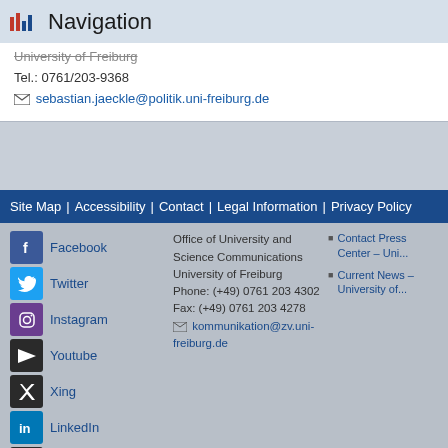Navigation
University of Freiburg
Tel.: 0761/203-9368
sebastian.jaeckle@politik.uni-freiburg.de
Site Map | Accessibility | Contact | Legal Information | Privacy Policy
Office of University and Science Communications
University of Freiburg
Phone: (+49) 0761 203 4302
Fax: (+49) 0761 203 4278
kommunikation@zv.uni-freiburg.de
Facebook
Twitter
Instagram
Youtube
Xing
LinkedIn
Mastodon
Contact Press Center – Uni...
Current News – University of...
Desktop-Version